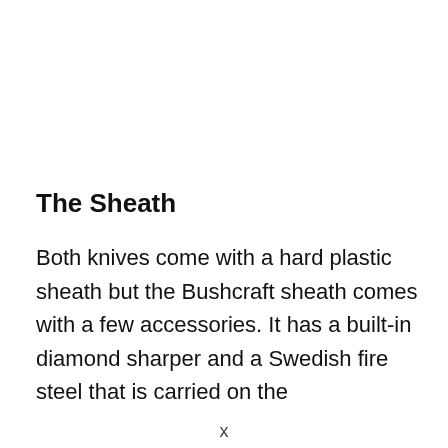The Sheath
Both knives come with a hard plastic sheath but the Bushcraft sheath comes with a few accessories. It has a built-in diamond sharper and a Swedish fire steel that is carried on the